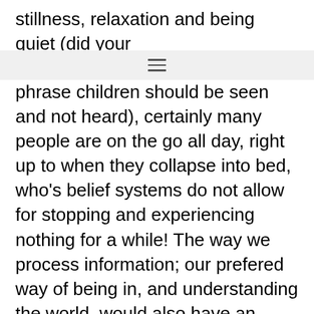stillness, relaxation and being quiet (did your
phrase children should be seen and not heard), certainly many people are on the go all day, right up to when they collapse into bed, who's belief systems do not allow for stopping and experiencing nothing for a while! The way we process information; our prefered way of being in, and understanding the world, would also have an effect on how we give ourselves peace and quiet, if at all!. As a kinaesthetic processor I need to 'feel' okay internally before I can sit and relax properly, as was highlighted on Wednesday, the anticipation I felt in my body meant that I had energy to burn and I would have blocked any attempts to relax, but I didn't, because something odd happened...